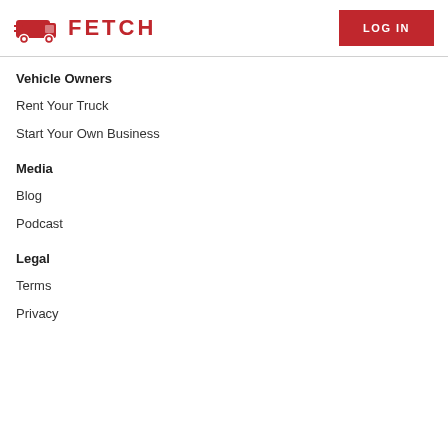FETCH | LOG IN
Vehicle Owners
Rent Your Truck
Start Your Own Business
Media
Blog
Podcast
Legal
Terms
Privacy